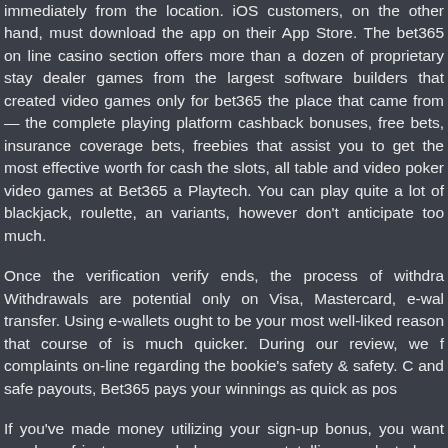immediately from the location. iOS customers, on the other hand, must download the app on their App Store. The bet365 on line casino section offers more than a dozen of proprietary stay dealer games from the largest software builders that created video games only for bet365 the place that came from — the complete playing platform cashback bonuses, free bets, insurance coverage bets, freebies that assist you to get the most effective worth for cash the slots, all table and video poker video games at Bet365 are supplied by Playtech. You can play quite a lot of blackjack, roulette, and other variants, however don't anticipate too much.
Once the verification verify ends, the process of withdrawals begins. Withdrawals are potential only on Visa, Mastercard, e-wallets, and bank transfer. Using e-wallets ought to be your most well-liked methodology reason that course of is much quicker. During our review, we found zero complaints on-line regarding the bookie's safety & safety. Concerning fast and safe payouts, Bet365 pays your winnings as quick as possible.
If you've made money utilizing your sign-up bonus, you want to bet a certain number of instances and place wagers totalling a selected amount within a set days to say your winnings. Thanks to this, you can watch all your favourite occasions internationally. Plenty of sporting events and markets to choose from; you'll never run out of choices.
The second you collect ?10,000 in Golden Chips, you can exchange them for eligible live casino titles. Below, we clarify what we like about Bet365 and have a look at some ways that it could possibly be improved. A huge betting market. That's proper – you presumably can wager on the end result of a match and other happenings, as you would possibly be watching.